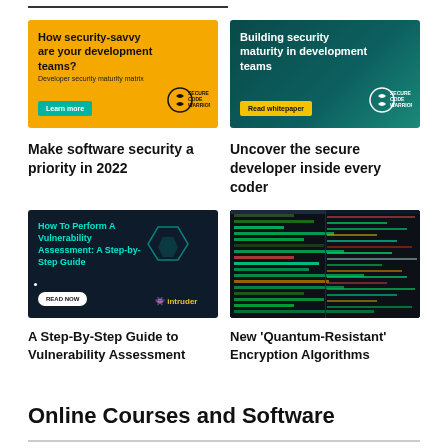[Figure (illustration): Yellow/orange Secure Code Warrior ad: 'How security-savvy are your development teams? Developer security maturity matrix. Learn more' button with logo]
[Figure (illustration): Dark teal Secure Code Warrior ad: 'Building security maturity in development teams. Read whitepaper' button with logo]
Make software security a priority in 2022
Uncover the secure developer inside every coder
[Figure (illustration): Dark Intruder ad: 'How To Perform A Vulnerability Assessment: A Step-by-Step Guide. READ NOW' button with Intruder logo]
[Figure (screenshot): Dark code editor screenshot showing colorful lines of code]
A Step-By-Step Guide to Vulnerability Assessment
New 'Quantum-Resistant' Encryption Algorithms
Online Courses and Software